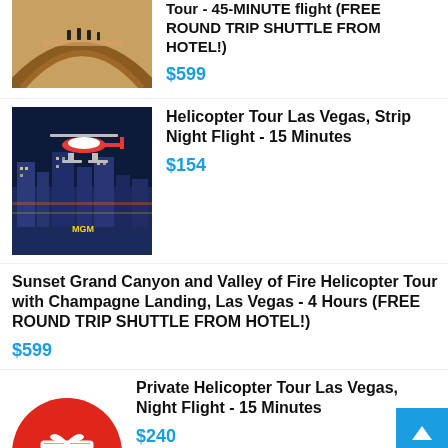[Figure (photo): Partial image of Grand Canyon bridge with tourists, cropped at top]
Tour - 45-MINUTE flight (FREE ROUND TRIP SHUTTLE FROM HOTEL!)
$599
[Figure (photo): Helicopter flying over Las Vegas Strip at night with city lights below]
Helicopter Tour Las Vegas, Strip Night Flight - 15 Minutes
$154
Sunset Grand Canyon and Valley of Fire Helicopter Tour with Champagne Landing, Las Vegas - 4 Hours (FREE ROUND TRIP SHUTTLE FROM HOTEL!)
$599
Private Helicopter Tour Las Vegas, Night Flight - 15 Minutes
$240
[Figure (illustration): Red circle with white gift box icon]
Helicopter Tour Las Vegas, Night